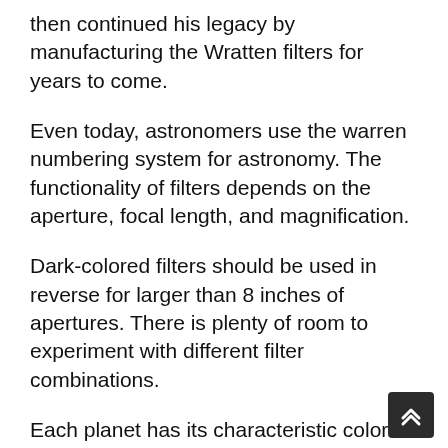then continued his legacy by manufacturing the Wratten filters for years to come.
Even today, astronomers use the warren numbering system for astronomy. The functionality of filters depends on the aperture, focal length, and magnification.
Dark-colored filters should be used in reverse for larger than 8 inches of apertures. There is plenty of room to experiment with different filter combinations.
Each planet has its characteristic color. A colored filter reduces the predominant hues.
This unravels the dramatic details of the celestial body you are viewing. When a